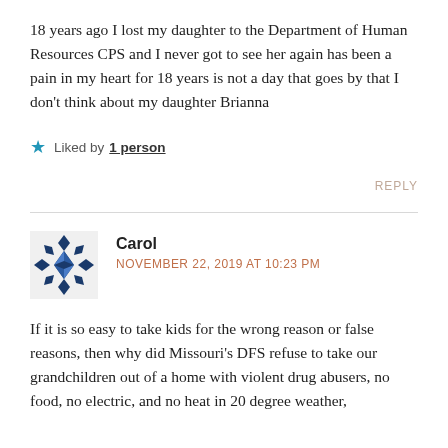18 years ago I lost my daughter to the Department of Human Resources CPS and I never got to see her again has been a pain in my heart for 18 years is not a day that goes by that I don't think about my daughter Brianna
Liked by 1 person
REPLY
Carol
NOVEMBER 22, 2019 AT 10:23 PM
If it is so easy to take kids for the wrong reason or false reasons, then why did Missouri's DFS refuse to take our grandchildren out of a home with violent drug abusers, no food, no electric, and no heat in 20 degree weather,